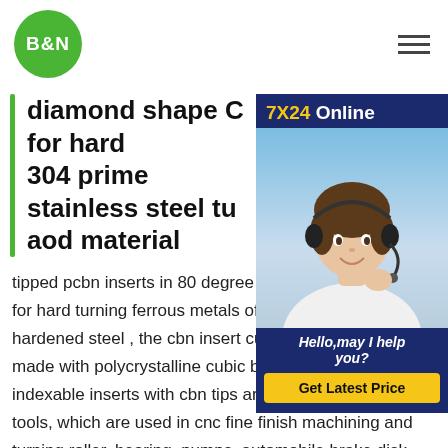B&N [logo] [hamburger menu]
diamond shape C for hard 304 prime stainless steel tu aod material
[Figure (photo): Customer service representative chat widget with '7X24 Online' header, photo of woman with headset, 'Hello, may I help you?' text, and 'Get Latest Price' yellow button]
tipped pcbn inserts in 80 degree diamond shape C for hard turning ferrous metals of cast iron and hardened steel , the cbn insert cutting edge is made with polycrystalline cubic boron nitride, indexable inserts with cbn tips are precision cutting tools, which are used in cnc fine finish machining and turning roller, bearing, pumps, automobile brake disk, aircraft jet engine. tipped pcd inserts in 80 degree diamond shape C for huaye 201 304 prime stainless